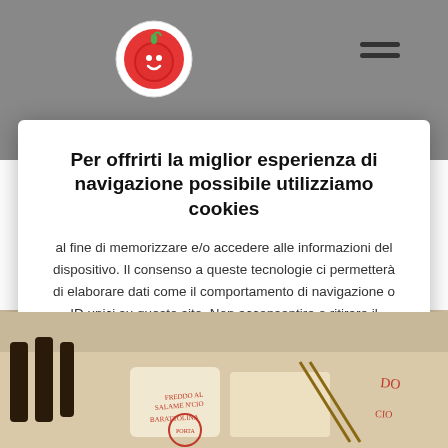[Figure (screenshot): Website header background with logo (circular red tomato icon) on left and hamburger menu icon on right, gray background]
Per offrirti la miglior esperienza di navigazione possibile utilizziamo cookies
al fine di memorizzare e/o accedere alle informazioni del dispositivo. Il consenso a queste tecnologie ci permetterà di elaborare dati come il comportamento di navigazione o ID unici su questo sito. Non acconsentire o ritirare il consenso può influire negativamente su alcune caratteristiche e funzioni.
Accetta tutti
Cookie Settings
Rifiuta tutti
[Figure (photo): Bottom portion of webpage showing food/restaurant imagery with handwritten labels]